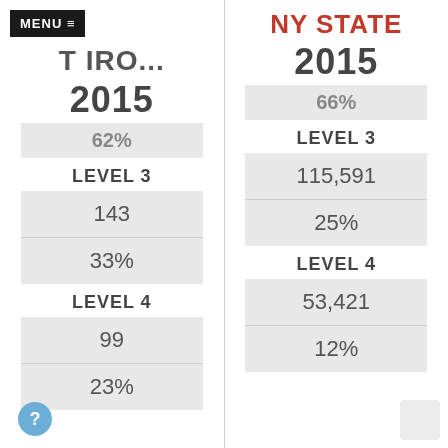MENU ≡ T IRO...
NY STATE
2015
2015
62%
66%
LEVEL 3
LEVEL 3
143
115,591
33%
25%
LEVEL 4
LEVEL 4
99
53,421
23%
12%